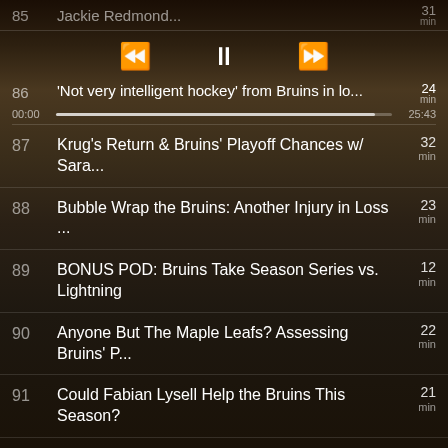85  Jackie Redmond...  31 min
[Figure (screenshot): Media player transport controls: rewind, pause, fast-forward]
86  'Not very intelligent hockey' from Bruins in lo...  24 min  00:00  25:43
87  Krug's Return & Bruins' Playoff Chances w/ Sara...  32 min
88  Bubble Wrap the Bruins: Another Injury in Loss ...  23 min
89  BONUS POD: Bruins Take Season Series vs. Lightning  12 min
90  Anyone But The Maple Leafs? Assessing Bruins' P...  22 min
91  Could Fabian Lysell Help the Bruins This Season?  21 min
92  We Need To Talk About The Bruins'...  24